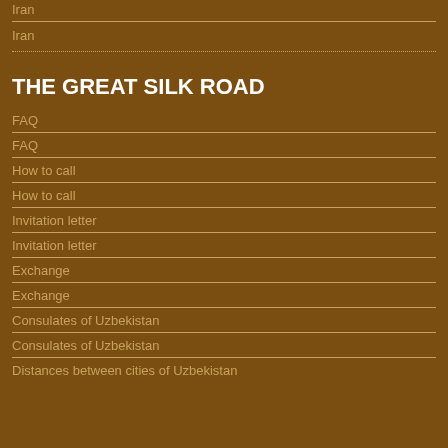Iran
Iran
THE GREAT SILK ROAD
FAQ
FAQ
How to call
How to call
Invitation letter
Invitation letter
Exchange
Exchange
Consulates of Uzbekistan
Consulates of Uzbekistan
Distances between cities of Uzbekistan